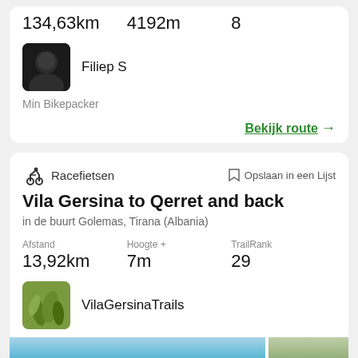134,63km
4192m
8
[Figure (photo): Dark user avatar photo of a person]
Filiep S
Min Bikepacker
Bekijk route →
Racefietsen
Opslaan in een Lijst
Vila Gersina to Qerret and back
in de buurt Golemas, Tirana (Albania)
Afstand
13,92km
Hoogte +
7m
TrailRank
29
[Figure (photo): Green plant/grass avatar for VilaGersinaTrails]
VilaGersinaTrails
[Figure (photo): Blue sky photo strip on the left]
[Figure (photo): Outdoor photo strip on the right with palm trees]